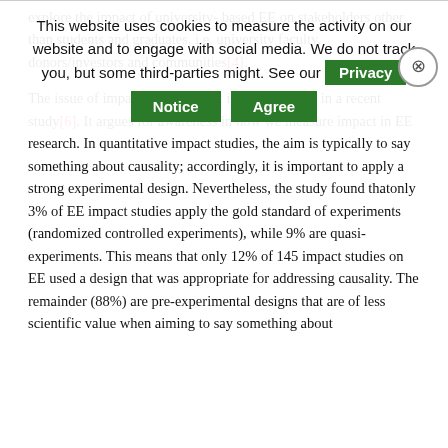explore the impact of university- based EE on stakeholders other than students and graduates, i.e.  university faculty, donors/investors and communities[4].
The issue of impact measurement is also the topic in a recent study[6]. It  argues for awareness in how we measure impact in EE research. In quantitative impact studies, the aim is typically to say something about causality; accordingly, it is important to apply a strong experimental design. Nevertheless, the study found thatonly 3% of EE impact studies apply the gold standard of experiments (randomized controlled experiments), while 9% are quasi-experiments. This means that only 12% of 145 impact studies on EE used a design that was appropriate for addressing causality. The remainder (88%) are pre-experimental designs that are of less scientific value when aiming to say something about
This website uses cookies to measure the activity on our website and to engage with social media. We do not track you, but some third-parties might. See our Privacy Notice Agree